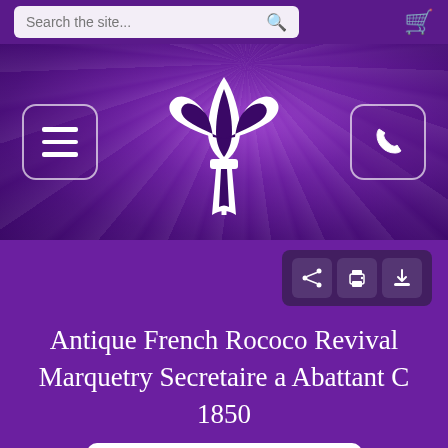Search the site...
[Figure (logo): Website header banner with purple gradient background, light rays, fleur-de-lis logo in center, hamburger menu button on left, phone button on right]
[Figure (infographic): Row of three action buttons: share, print, download on dark purple background]
Antique French Rococo Revival Marquetry Secretaire a Abattant C 1850
[Figure (photo): Partial view of an antique French Rococo Revival Marquetry Secretaire a Abattant furniture piece, showing ornate gilded wood detail at the bottom of the image]